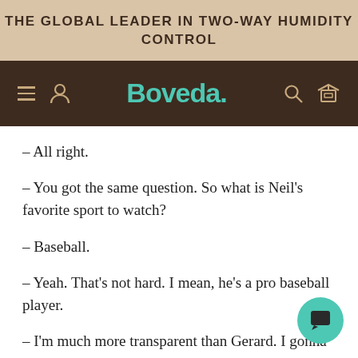THE GLOBAL LEADER IN TWO-WAY HUMIDITY CONTROL
[Figure (logo): Boveda brand navigation bar with hamburger menu, user icon, Boveda logo in teal, search icon, and box icon on dark brown background]
– All right.
– You got the same question. So what is Neil's favorite sport to watch?
– Baseball.
– Yeah. That's not hard. I mean, he's a pro baseball player.
– I'm much more transparent than Gerard. I gonna bat a thousand. I'm telling you now.